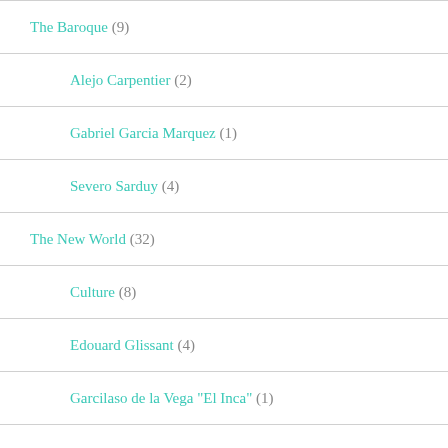The Baroque (9)
Alejo Carpentier (2)
Gabriel Garcia Marquez (1)
Severo Sarduy (4)
The New World (32)
Culture (8)
Edouard Glissant (4)
Garcilaso de la Vega "El Inca" (1)